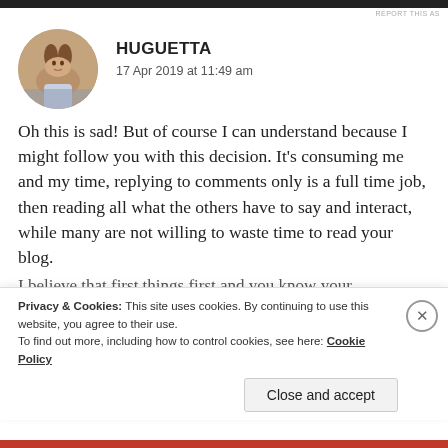REPORT THIS AS
[Figure (photo): Circular avatar photo of a woman with brown hair]
HUGUETTA
17 Apr 2019 at 11:49 am
Oh this is sad! But of course I can understand because I might follow you with this decision. It’s consuming me and my time, replying to comments only is a full time job, then reading all what the others have to say and interact, while many are not willing to waste time to read your blog.
I believe that first things first and you know your
Privacy & Cookies: This site uses cookies. By continuing to use this website, you agree to their use.
To find out more, including how to control cookies, see here: Cookie Policy
Close and accept